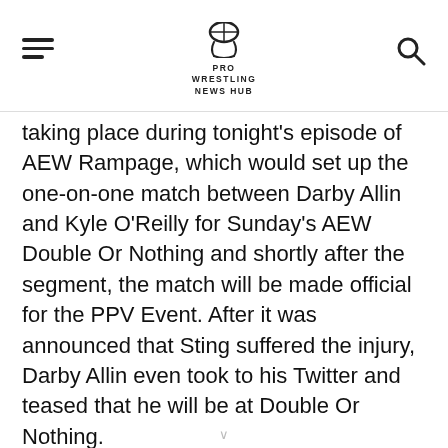PRO WRESTLING NEWS HUB
taking place during tonight's episode of AEW Rampage, which would set up the one-on-one match between Darby Allin and Kyle O'Reilly for Sunday's AEW Double Or Nothing and shortly after the segment, the match will be made official for the PPV Event. After it was announced that Sting suffered the injury, Darby Allin even took to his Twitter and teased that he will be at Double Or Nothing.
You can check out the tweets below: